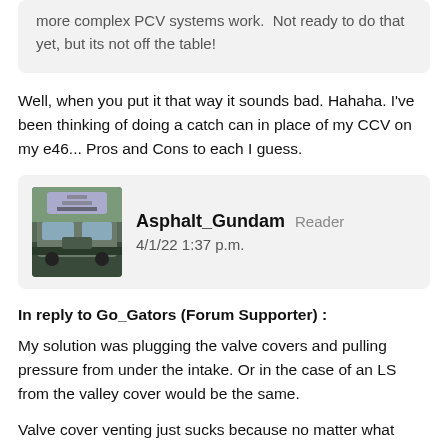more complex PCV systems work.  Not ready to do that yet, but its not off the table!
Well, when you put it that way it sounds bad. Hahaha. I've been thinking of doing a catch can in place of my CCV on my e46... Pros and Cons to each I guess.
[Figure (photo): User avatar photo of Asphalt_Gundam showing a vehicle outdoors]
Asphalt_Gundam  Reader
4/1/22 1:37 p.m.
In reply to Go_Gators (Forum Supporter) :
My solution was plugging the valve covers and pulling pressure from under the intake. Or in the case of an LS from the valley cover would be the same.
Valve cover venting just sucks because no matter what there is a constant mist of oil in suspension thanks to the rockers,